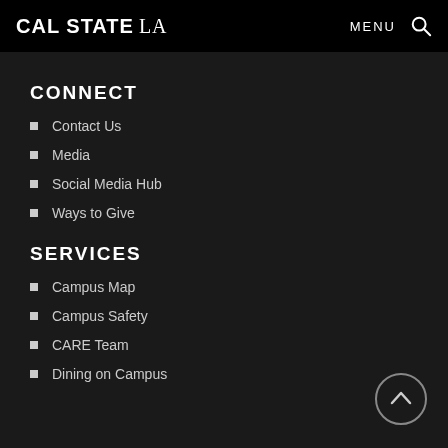CAL STATE LA  MENU
CONNECT
Contact Us
Media
Social Media Hub
Ways to Give
SERVICES
Campus Map
Campus Safety
CARE Team
Dining on Campus